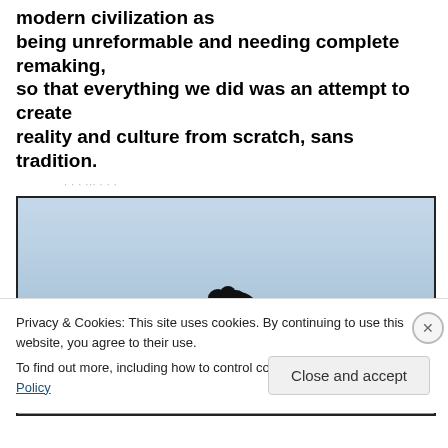modern civilization as being unreformable and needing complete remaking, so that everything we did was an attempt to create reality and culture from scratch, sans tradition.
[Figure (photo): A silhouette of a tree with a dark bushy canopy against a light blue-grey sky background.]
Privacy & Cookies: This site uses cookies. By continuing to use this website, you agree to their use.
To find out more, including how to control cookies, see here: Cookie Policy